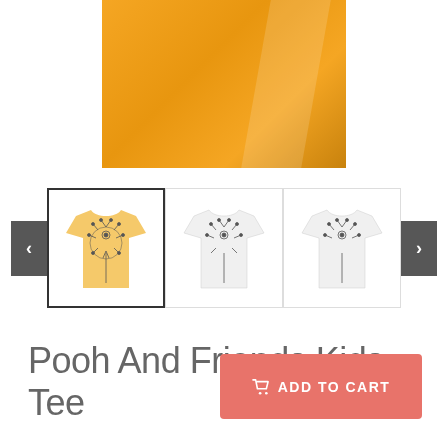[Figure (photo): Main product image showing orange/golden yellow fabric or t-shirt close-up]
[Figure (photo): Three t-shirt thumbnails: first is yellow with dandelion/Pooh design (selected), second and third are white with same design. Left and right navigation arrows visible.]
Pooh And Friends Kids Tee
ADD TO CART